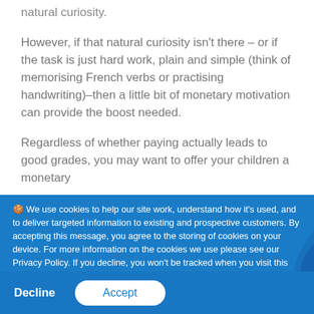natural curiosity.
However, if that natural curiosity isn't there – or if the task is just hard work, plain and simple (think of memorising French verbs or practising handwriting)–then a little bit of monetary motivation can provide the boost needed.
Regardless of whether paying actually leads to good grades, you may want to offer your children a monetary
🍪 We use cookies to help our site work, understand how it's used, and to deliver targeted information to existing and prospective customers. By accepting this message, you agree to the storing of cookies on your device. For more information on the cookies we use please see our Privacy Policy. If you decline, you won't be tracked when you visit this website, apart from the necessary cookies required to remember your preference.
Decline
Accept